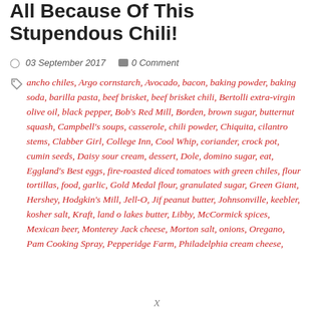All Because Of This Stupendous Chili!
03 September 2017   0 Comment
ancho chiles, Argo cornstarch, Avocado, bacon, baking powder, baking soda, barilla pasta, beef brisket, beef brisket chili, Bertolli extra-virgin olive oil, black pepper, Bob's Red Mill, Borden, brown sugar, butternut squash, Campbell's soups, casserole, chili powder, Chiquita, cilantro stems, Clabber Girl, College Inn, Cool Whip, coriander, crock pot, cumin seeds, Daisy sour cream, dessert, Dole, domino sugar, eat, Eggland's Best eggs, fire-roasted diced tomatoes with green chiles, flour tortillas, food, garlic, Gold Medal flour, granulated sugar, Green Giant, Hershey, Hodgkin's Mill, Jell-O, Jif peanut butter, Johnsonville, keebler, kosher salt, Kraft, land o lakes butter, Libby, McCormick spices, Mexican beer, Monterey Jack cheese, Morton salt, onions, Oregano, Pam Cooking Spray, Pepperidge Farm, Philadelphia cream cheese,